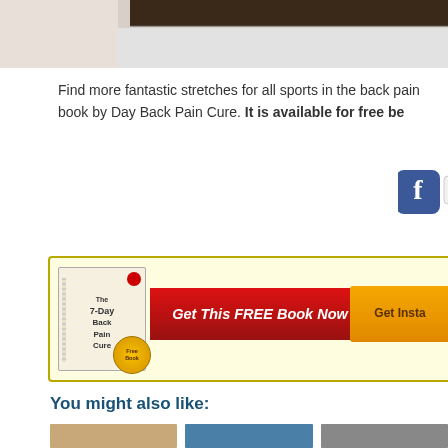[Figure (photo): Top cropped photo, dark background with brown tones]
Find more fantastic stretches for all sports in the back pain book by Day Back Pain Cure. It is available for free be
[Figure (screenshot): Facebook share button and Share/Save social bar with Facebook and Twitter icons]
[Figure (infographic): Advertisement banner: The 7-Day Back Pain Cure book with 'Get This FREE Book Now' red arrow button and 'Get Insta...' orange button on yellow background]
You might also like:
[Figure (photo): Three thumbnail images at bottom of page]